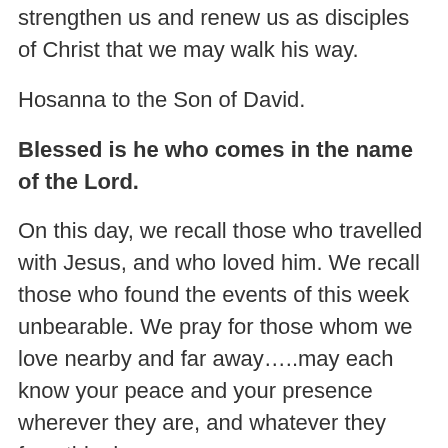strengthen us and renew us as disciples of Christ that we may walk his way.
Hosanna to the Son of David.
Blessed is he who comes in the name of the Lord.
On this day, we recall those who travelled with Jesus, and who loved him. We recall those who found the events of this week unbearable. We pray for those whom we love nearby and far away…..may each know your peace and your presence wherever they are, and whatever they face this day.
We pray for those who are seeking to bring health and wholeness to our communities. For those working in health and care professions, for the suppliers and distributors of food, for those